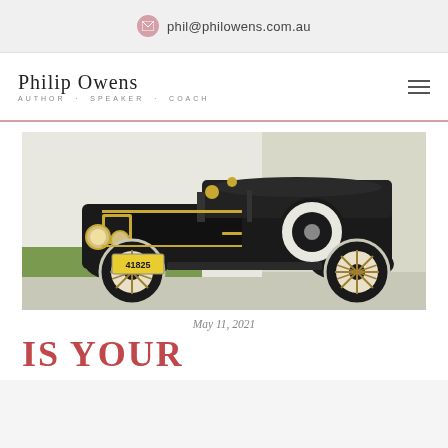phil@philowens.com.au
Philip Owens — AUTHOR · SPEAKER · COACH
[Figure (photo): Vintage black antique car (Model T Ford style) with white wall tires, wooden spoke wheels, gold trim, and yellow license plate reading 41825, parked on a driveway in front of a white wall with green grass visible.]
May 11, 2021
IS YOUR